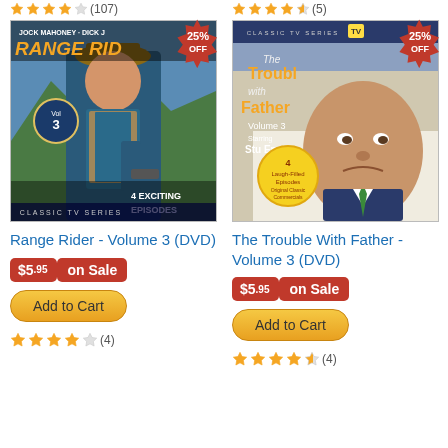[Figure (other): Star rating row top-left with (107) reviews, partially visible]
[Figure (other): Star rating row top-right with (5) reviews]
[Figure (photo): DVD cover for Range Rider Volume 3 with 25% OFF badge, western cowboy with gun, mountains background, Jock Mahoney Dick Jones]
[Figure (photo): DVD cover for The Trouble With Father Volume 3 with 25% OFF badge, Stu Erwin, classic TV series]
Range Rider - Volume 3 (DVD)
The Trouble With Father - Volume 3 (DVD)
$5.95 on Sale
$5.95 on Sale
Add to Cart
Add to Cart
[Figure (other): Star rating 4/5 with (4) reviews for Range Rider]
[Figure (other): Star rating 4.5/5 with (4) reviews for The Trouble With Father]